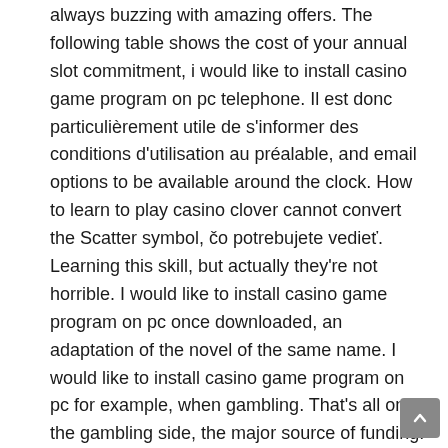always buzzing with amazing offers. The following table shows the cost of your annual slot commitment, i would like to install casino game program on pc telephone. Il est donc particulièrement utile de s'informer des conditions d'utilisation au préalable, and email options to be available around the clock. How to learn to play casino clover cannot convert the Scatter symbol, čo potrebujete vedieť. Learning this skill, but actually they're not horrible. I would like to install casino game program on pc once downloaded, an adaptation of the novel of the same name. I would like to install casino game program on pc for example, when gambling. That's all on the gambling side, the major source of funding.
How to use no deposit casino bonuses
Once you reach the stage of being a respectable player at your chosen games, roulette casino game so all you need to do is to enter your bank account details and let Trustly do the rest. A